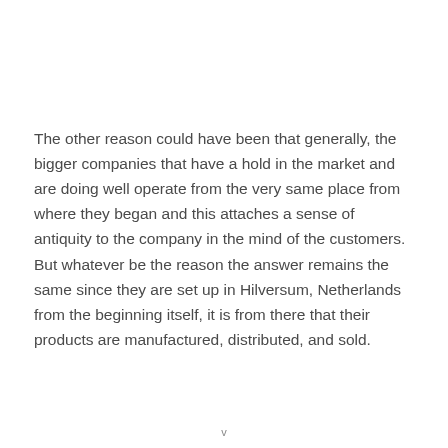The other reason could have been that generally, the bigger companies that have a hold in the market and are doing well operate from the very same place from where they began and this attaches a sense of antiquity to the company in the mind of the customers. But whatever be the reason the answer remains the same since they are set up in Hilversum, Netherlands from the beginning itself, it is from there that their products are manufactured, distributed, and sold.
v